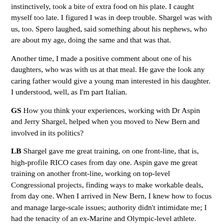instinctively, took a bite of extra food on his plate. I caught myself too late. I figured I was in deep trouble. Shargel was with us, too. Spero laughed, said something about his nephews, who are about my age, doing the same and that was that.
Another time, I made a positive comment about one of his daughters, who was with us at that meal. He gave the look any caring father would give a young man interested in his daughter. I understood, well, as I'm part Italian.
GS How you think your experiences, working with Dr Aspin and Jerry Shargel, helped when you moved to New Bern and involved in its politics?
LB Shargel gave me great training, on one front-line, that is, high-profile RICO cases from day one. Aspin gave me great training on another front-line, working on top-level Congressional projects, finding ways to make workable deals, from day one. When I arrived in New Bern, I knew how to focus and manage large-scale issues; authority didn't intimidate me; I had the tenacity of an ex-Marine and Olympic-level athlete.
The waterfront issue, of course, came first. Once I saw the evidence, I knew the city was in trouble. My experience assured I would not back down or away until the problem resolved.